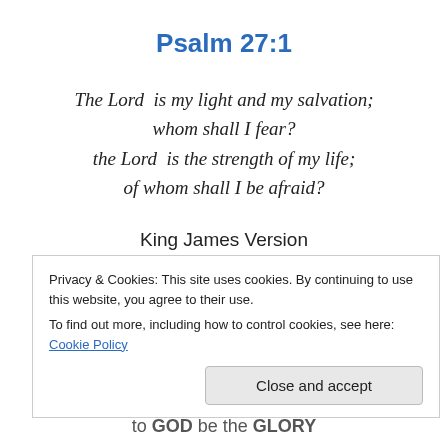Psalm 27:1
The Lord  is my light and my salvation;
whom shall I fear?
the Lord  is the strength of my life;
of whom shall I be afraid?
King James Version
Public Domain
by Deborah Ann Belka
Copyright 2011 Revised 2022
Privacy & Cookies: This site uses cookies. By continuing to use this website, you agree to their use.
To find out more, including how to control cookies, see here: Cookie Policy
Close and accept
to GOD be the GLORY